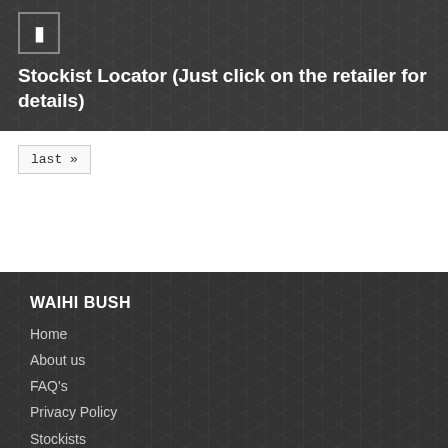[Figure (other): Small square icon box with a bookmark/tag symbol inside, white border on dark background]
Stockist Locator (Just click on the retailer for details)
last »
WAIHI BUSH
Home
About us
FAQ's
Privacy Policy
Stockists